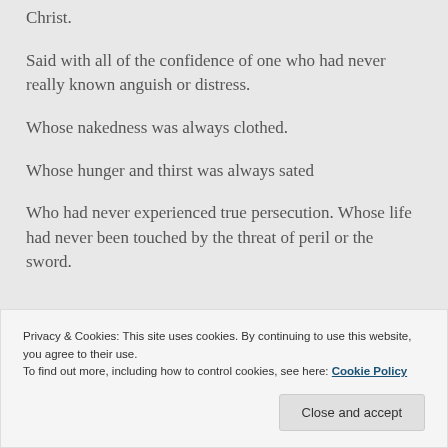Christ.
Said with all of the confidence of one who had never really known anguish or distress.
Whose nakedness was always clothed.
Whose hunger and thirst was always sated
Who had never experienced true persecution. Whose life had never been touched by the threat of peril or the sword.
Privacy & Cookies: This site uses cookies. By continuing to use this website, you agree to their use.
To find out more, including how to control cookies, see here: Cookie Policy
Close and accept